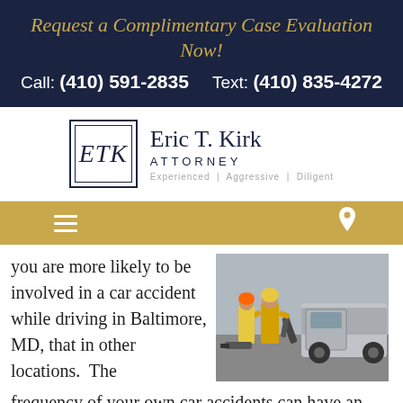Request a Complimentary Case Evaluation Now!
Call: (410) 591-2835     Text: (410) 835-4272
[Figure (logo): ETK logo box with 'Eric T. Kirk ATTORNEY - Experienced | Aggressive | Diligent']
[Figure (other): Golden navigation bar with hamburger menu icon and location pin icon]
you are more likely to be involved in a car accident while driving in Baltimore, MD, that in other locations.  The
[Figure (photo): Photo of emergency responders working at a car accident scene, using jaws of life on a damaged vehicle door]
frequency of your own car accidents can have an impact on the value of your claim, even if a negative one. [see discussion of “priors”]. While Baltimore